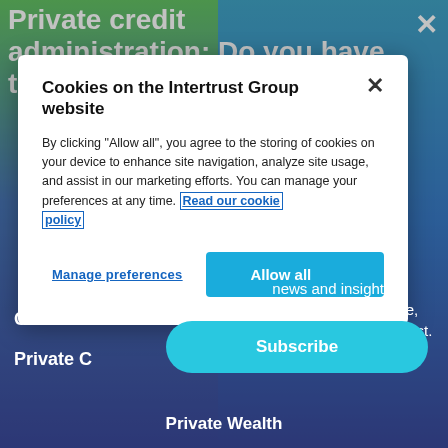Private credit administration: Do you have th
[Figure (screenshot): Cookie consent modal dialog on Intertrust Group website. Modal title: 'Cookies on the Intertrust Group website'. Body text: 'By clicking "Allow all", you agree to the storing of cookies on your device to enhance site navigation, analyze site usage, and assist in our marketing efforts. You can manage your preferences at any time. Read our cookie policy'. Two buttons: 'Manage preferences' (text link style) and 'Allow all' (blue button).]
news and insights, personalised to your role, location and areas of interest.
Co
Private C
Subscribe
Private Wealth